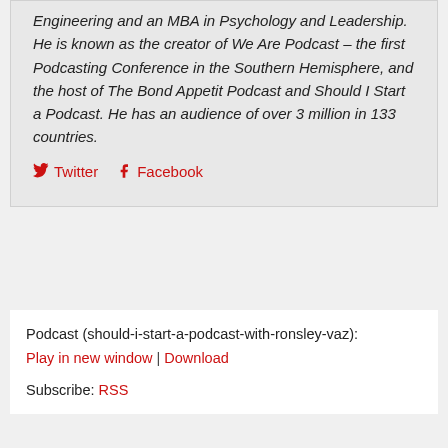Engineering and an MBA in Psychology and Leadership. He is known as the creator of We Are Podcast – the first Podcasting Conference in the Southern Hemisphere, and the host of The Bond Appetit Podcast and Should I Start a Podcast. He has an audience of over 3 million in 133 countries.
Twitter  Facebook
Podcast (should-i-start-a-podcast-with-ronsley-vaz):
Play in new window | Download
Subscribe: RSS